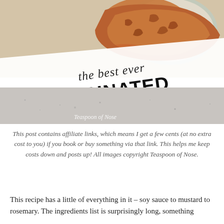[Figure (photo): Food blog hero image showing marinated chicken on a plate with overlaid text. Script text reads 'the best ever' and bold block text reads 'MARINATED CHICKEN'. Bottom left shows 'Teaspoon of Nose' watermark. Background includes a granite countertop texture.]
This post contains affiliate links, which means I get a few cents (at no extra cost to you) if you book or buy something via that link. This helps me keep costs down and posts up! All images copyright Teaspoon of Nose.
This recipe has a little of everything in it – soy sauce to mustard to rosemary. The ingredients list is surprisingly long, something